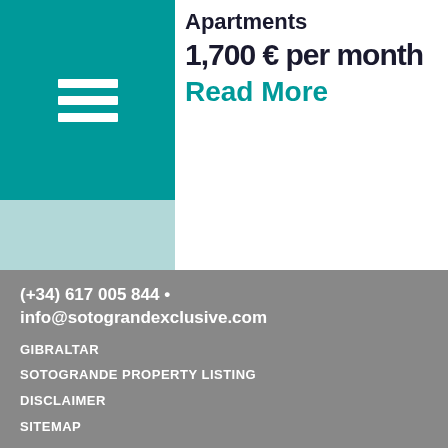[Figure (logo): Teal square with white hamburger menu icon (three horizontal lines)]
Apartments
1,700 € per month
Read More
[Figure (illustration): Dark blue circle with white thumbs-up icon]
(+34) 617 005 844 • info@sotograndexclusive.com
GIBRALTAR
SOTOGRANDE PROPERTY LISTING
DISCLAIMER
SITEMAP